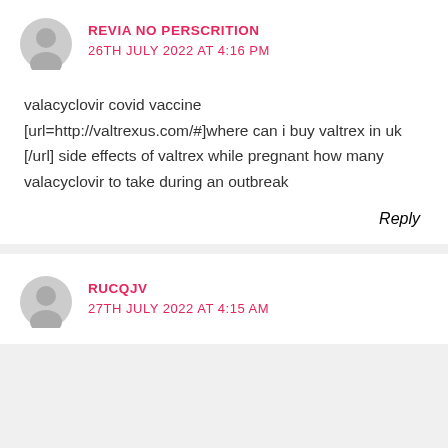REVIA NO PERSCRITION
26TH JULY 2022 AT 4:16 PM
valacyclovir covid vaccine [url=http://valtrexus.com/#]where can i buy valtrex in uk [/url] side effects of valtrex while pregnant how many valacyclovir to take during an outbreak
Reply
RUCQJV
27TH JULY 2022 AT 4:15 AM